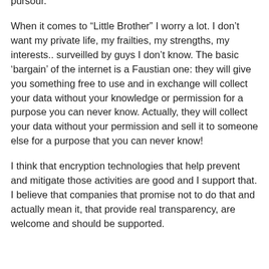pursour.
When it comes to “Little Brother” I worry a lot. I don’t want my private life, my frailties, my strengths, my interests.. surveilled by guys I don’t know. The basic ‘bargain’ of the internet is a Faustian one: they will give you something free to use and in exchange will collect your data without your knowledge or permission for a purpose you can never know. Actually, they will collect your data without your permission and sell it to someone else for a purpose that you can never know!
I think that encryption technologies that help prevent and mitigate those activities are good and I support that. I believe that companies that promise not to do that and actually mean it, that provide real transparency, are welcome and should be supported.